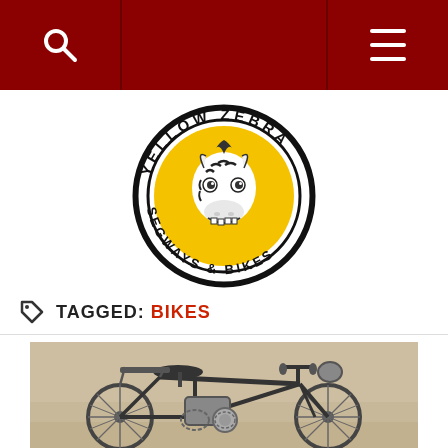Navigation bar with search and menu icons
[Figure (logo): Yellow Zebra Segways & Bikes circular logo with a cartoon zebra head on a yellow background, black text around the border]
TAGGED: BIKES
[Figure (photo): Sepia-toned vintage photo of a bicycle/motorbike leaning against a wall]